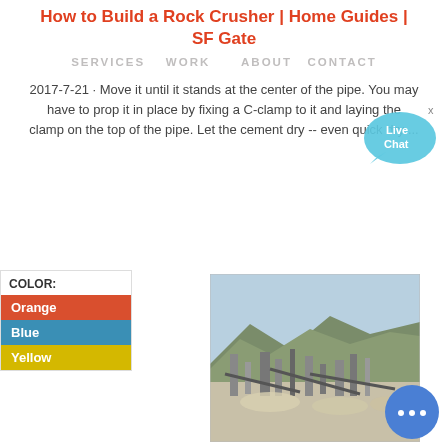How to Build a Rock Crusher | Home Guides | SF Gate
SERVICES   WORK     ABOUT   CONTACT
2017-7-21 · Move it until it stands at the center of the pipe. You may have to prop it in place by fixing a C-clamp to it and laying the clamp on the top of the pipe. Let the cement dry -- even quick dry ...
[Figure (infographic): Live Chat bubble icon in cyan/blue]
COLOR:
Orange
Blue
Yellow
[Figure (photo): Photograph of a rock crushing facility with mountains in the background]
[Figure (infographic): Round blue chat button with ellipsis dots]